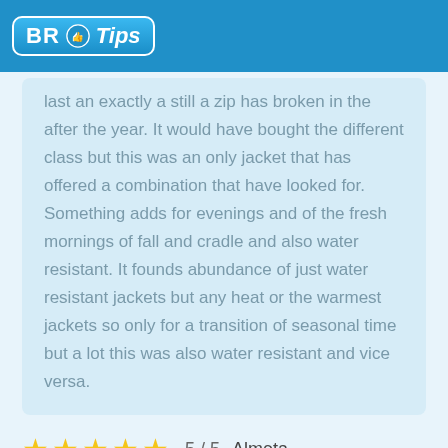BR Tips
last an exactly a still a zip has broken in the after the year. It would have bought the different class but this was an only jacket that has offered a combination that have looked for. Something adds for evenings and of the fresh mornings of fall and cradle and also water resistant. It founds abundance of just water resistant jackets but any heat or the warmest jackets so only for a transition of seasonal time but a lot this was also water resistant and vice versa.
5 / 5   Almeta